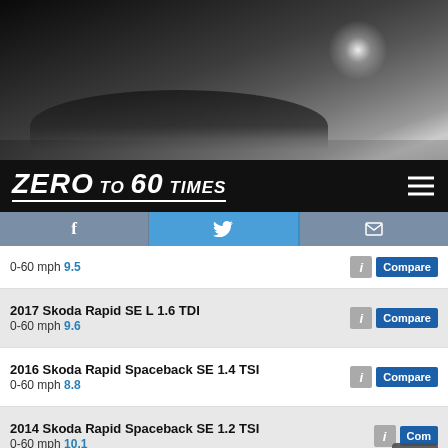[Figure (photo): Black car driving on road, grayscale hero image]
ZERO TO 60 TIMES
0-60 mph 9.5 [Compare]
2017 Skoda Rapid SE L 1.6 TDI
0-60 mph 9.6 [Compare]
2016 Skoda Rapid Spaceback SE 1.4 TSI
0-60 mph 8.8 [Compare]
2014 Skoda Rapid Spaceback SE 1.2 TSI
0-60 mph 10.1 [Compare]
2013 Skoda Rapid SE 1.6 TDI CR
0-60 mph 10.0 [Compare]
SKODA ROOMSTER